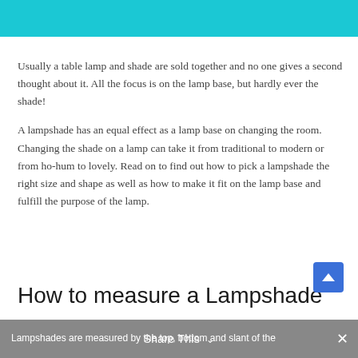Usually a table lamp and shade are sold together and no one gives a second thought about it. All the focus is on the lamp base, but hardly ever the shade!
A lampshade has an equal effect as a lamp base on changing the room. Changing the shade on a lamp can take it from traditional to modern or from ho-hum to lovely. Read on to find out how to pick a lampshade the right size and shape as well as how to make it fit on the lamp base and fulfill the purpose of the lamp.
How to measure a Lampshade
Lampshades are measured by the top, bottom and slant of the